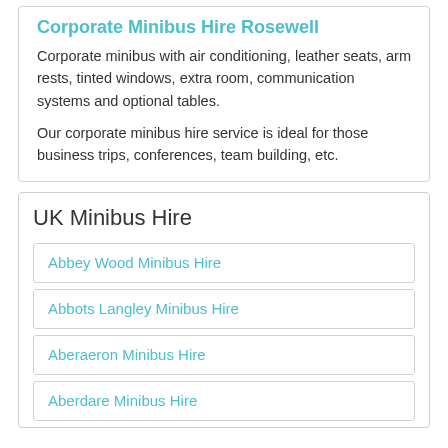Corporate Minibus Hire Rosewell
Corporate minibus with air conditioning, leather seats, arm rests, tinted windows, extra room, communication systems and optional tables.
Our corporate minibus hire service is ideal for those business trips, conferences, team building, etc.
UK Minibus Hire
Abbey Wood Minibus Hire
Abbots Langley Minibus Hire
Aberaeron Minibus Hire
Aberdare Minibus Hire